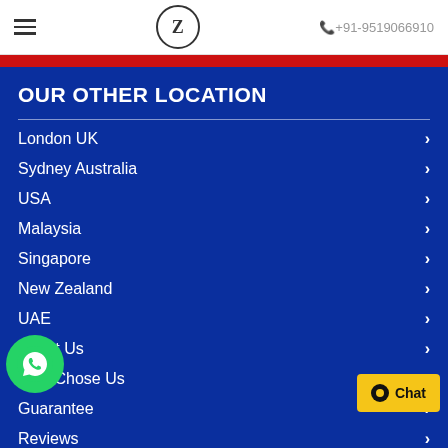☰  Z  +91-9519066910
OUR OTHER LOCATION
London UK
Sydney Australia
USA
Malaysia
Singapore
New Zealand
UAE
About Us
Why Chose Us
Guarantee
Reviews
Free Plagirism Report
SERVICES LINK